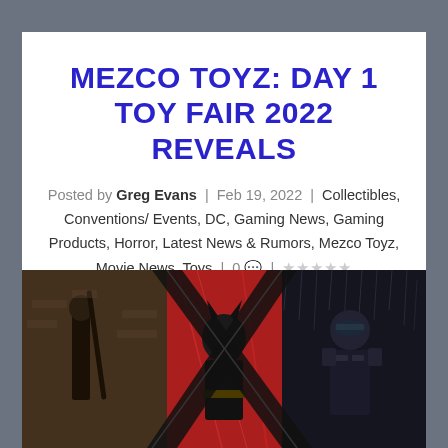MEZCO TOYZ: DAY 1 TOY FAIR 2022 REVEALS
Posted by Greg Evans | Feb 19, 2022 | Collectibles, Conventions/ Events, DC, Gaming News, Gaming Products, Horror, Latest News & Rumors, Mezco Toyz, Movie News, Toys | 0 💬 | ☆☆☆☆☆
[Figure (photo): Composite promotional image showing three action figures/characters: left panel shows a figure with a weapon in a dark indoor setting, center panel shows a Batman-like figure in a red-lit environment, right panel shows an armored figure in the rain.]